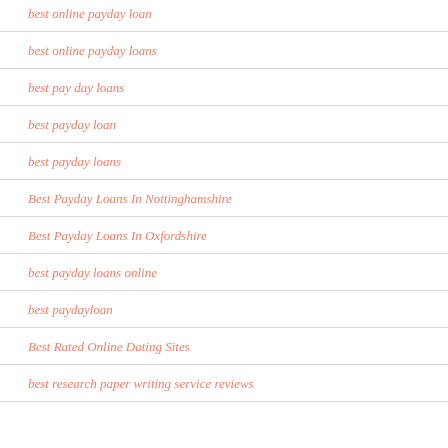best online payday loan
best online payday loans
best pay day loans
best payday loan
best payday loans
Best Payday Loans In Nottinghamshire
Best Payday Loans In Oxfordshire
best payday loans online
best paydayloan
Best Rated Online Dating Sites
best research paper writing service reviews